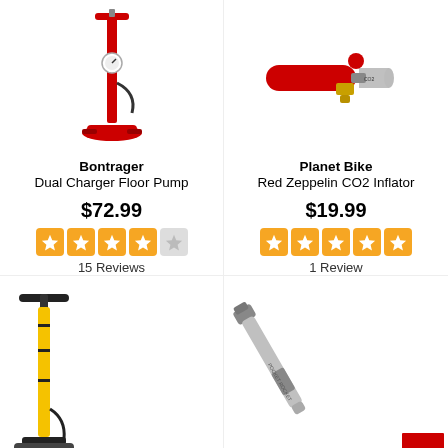[Figure (photo): Bontrager Dual Charger Floor Pump - red floor bicycle pump]
Bontrager Dual Charger Floor Pump
$72.99
15 Reviews
[Figure (photo): Planet Bike Red Zeppelin CO2 Inflator - red CO2 bike tire inflator with brass valve]
Planet Bike Red Zeppelin CO2 Inflator
$19.99
1 Review
[Figure (photo): Topeak floor pump - black and yellow bicycle floor pump]
[Figure (photo): Topeak Pocket Rocket mini pump - silver/grey compact bicycle pump]